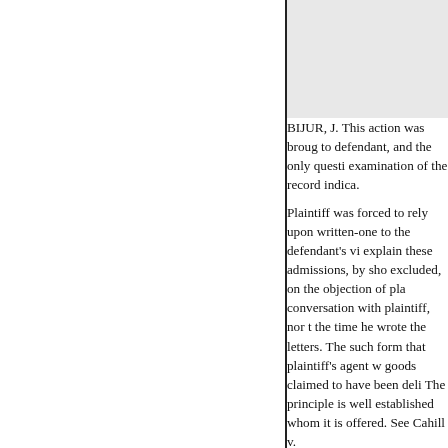BIJUR, J. This action was brought to defendant, and the only question examination of the record indica. Plaintiff was forced to rely upon written-one to the defendant's witness explain these admissions, by show excluded, on the objection of plaintiff conversation with plaintiff, nor the time he wrote the letters. The such form that plaintiff's agent w goods claimed to have been deli The principle is well established whom it is offered. See Cahill v. As there is no foundation for t should have been afforded ample trial ordered, with costs to appell NUMBER in Dec. & Am. Digs. Appellate Term, First Departmen —PRIMA FACIE CASE.